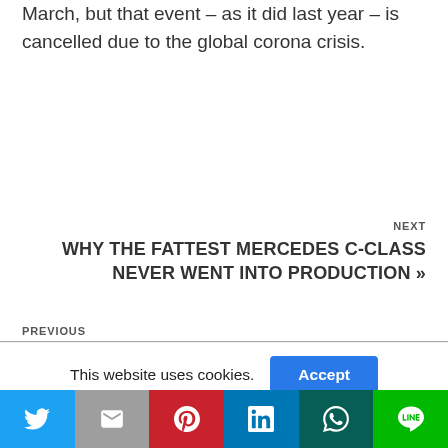March, but that event – as it did last year – is cancelled due to the global corona crisis.
NEXT
WHY THE FATTEST MERCEDES C-CLASS NEVER WENT INTO PRODUCTION »
PREVIOUS
This website uses cookies.
[Figure (infographic): Social share bar with icons for Twitter, Email, Pinterest, LinkedIn, WhatsApp, and LINE]